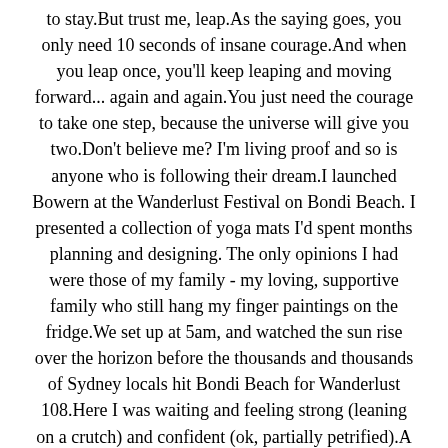to stay.But trust me, leap.As the saying goes, you only need 10 seconds of insane courage.And when you leap once, you'll keep leaping and moving forward... again and again.You just need the courage to take one step, because the universe will give you two.Don't believe me? I'm living proof and so is anyone who is following their dream.I launched Bowern at the Wanderlust Festival on Bondi Beach. I presented a collection of yoga mats I'd spent months planning and designing. The only opinions I had were those of my family - my loving, supportive family who still hang my finger paintings on the fridge.We set up at 5am, and watched the sun rise over the horizon before the thousands and thousands of Sydney locals hit Bondi Beach for Wanderlust 108.Here I was waiting and feeling strong (leaning on a crutch) and confident (ok, partially petrified).A dream and a leap. 10 seconds of insane courage.And guess what, Bowern sold out. I took the one step, and the universe handed me a few metres.So, here is the sign to begin.Start the business